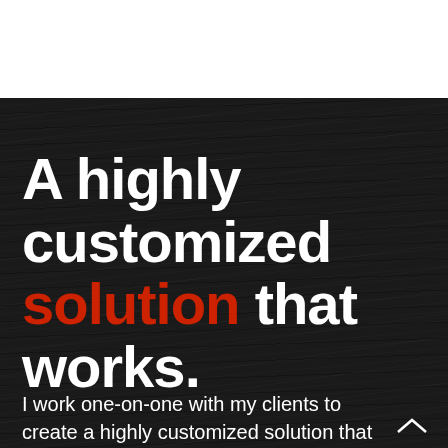A highly customized solution that works.
I work one-on-one with my clients to create a highly customized solution that